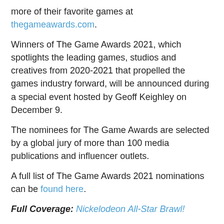more of their favorite games at thegameawards.com.
Winners of The Game Awards 2021, which spotlights the leading games, studios and creatives from 2020-2021 that propelled the games industry forward, will be announced during a special event hosted by Geoff Keighley on December 9.
The nominees for The Game Awards are selected by a global jury of more than 100 media publications and influencer outlets.
A full list of The Game Awards 2021 nominations can be found here.
Full Coverage: Nickelodeon All-Star Brawl!
Original source: Bleeding Cool, Metro.
Follow NickALive! on Twitter, Reddit, Instagram, Facebook, Google News, Tumblr, via RSS and more for the latest Nickelodeon All-Star